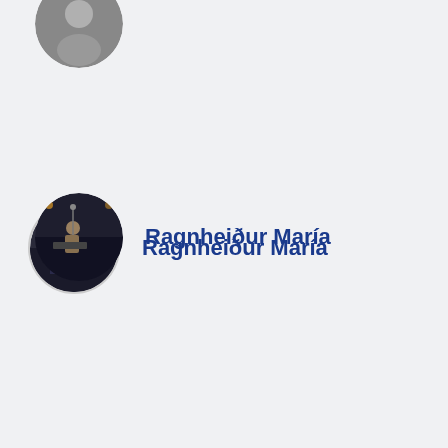[Figure (photo): Circular avatar photo of a person, partially cropped at the top of the page]
Ragnheiður María
[Figure (photo): Circular avatar photo of Ragnheiður María performing on stage with lighting]
Gudlaug Helgadóttir
[Figure (photo): Circular avatar photo of Gudlaug Helgadóttir performing on stage with blue lighting]